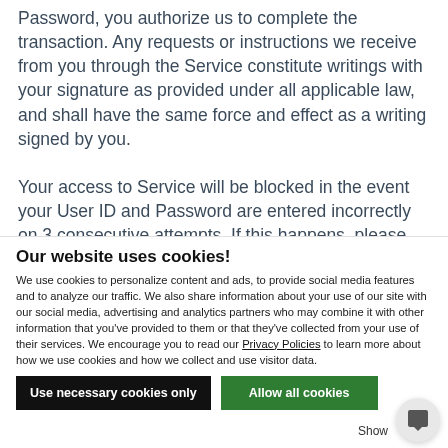Password, you authorize us to complete the transaction. Any requests or instructions we receive from you through the Service constitute writings with your signature as provided under all applicable law, and shall have the same force and effect as a writing signed by you.
Your access to Service will be blocked in the event your User ID and Password are entered incorrectly on 3 consecutive attempts. If this happens, please call us
Our website uses cookies!
We use cookies to personalize content and ads, to provide social media features and to analyze our traffic. We also share information about your use of our site with our social media, advertising and analytics partners who may combine it with other information that you've provided to them or that they've collected from your use of their services. We encourage you to read our Privacy Policies to learn more about how we use cookies and how we collect and use visitor data.